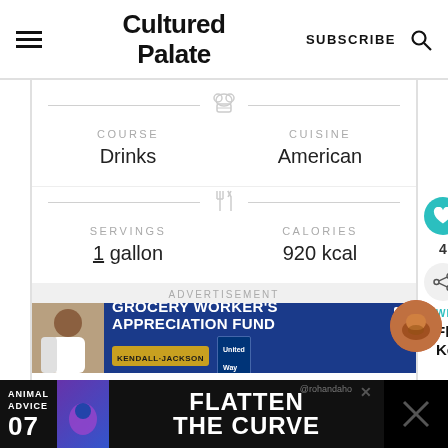Cultured Palate
COURSE
Drinks
CUISINE
American
SERVINGS
1 gallon
CALORIES
920 kcal
ADVERTISEMENT
[Figure (screenshot): Grocery Worker's Appreciation Fund advertisement banner with Kendall-Jackson and United Way logos on blue background]
WHAT'S NEXT
Flavored Kombucha
[Figure (screenshot): Animal Advice 07 - Flatten The Curve advertisement banner on dark background]